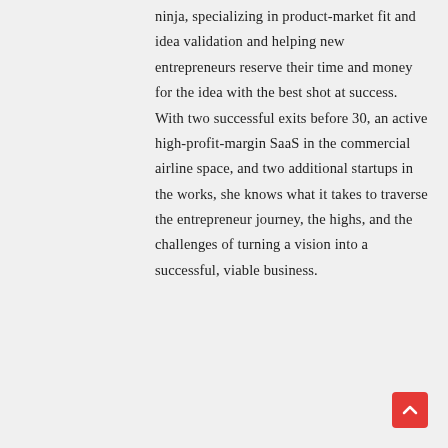ninja, specializing in product-market fit and idea validation and helping new entrepreneurs reserve their time and money for the idea with the best shot at success. With two successful exits before 30, an active high-profit-margin SaaS in the commercial airline space, and two additional startups in the works, she knows what it takes to traverse the entrepreneur journey, the highs, and the challenges of turning a vision into a successful, viable business.